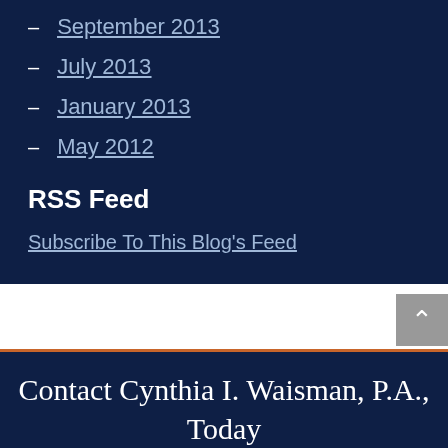September 2013
July 2013
January 2013
May 2012
RSS Feed
Subscribe To This Blog's Feed
Contact Cynthia I. Waisman, P.A., Today